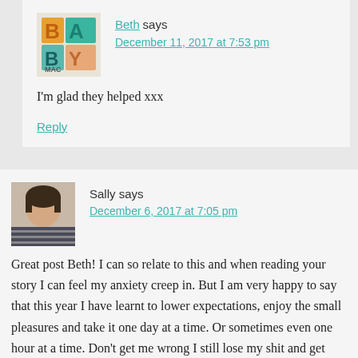[Figure (photo): BabyMac colorful logo avatar for Beth]
Beth says
December 11, 2017 at 7:53 pm
I'm glad they helped xxx
Reply
[Figure (photo): Photo of Sally, a woman smiling, wearing a striped top]
Sally says
December 6, 2017 at 7:05 pm
Great post Beth! I can so relate to this and when reading your story I can feel my anxiety creep in. But I am very happy to say that this year I have learnt to lower expectations, enjoy the small pleasures and take it one day at a time. Or sometimes even one hour at a time. Don't get me wrong I still lose my shit and get